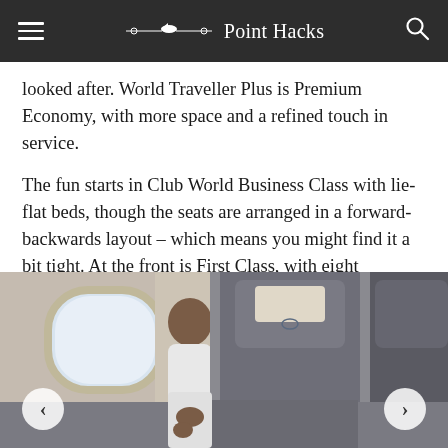Point Hacks
looked after. World Traveller Plus is Premium Economy, with more space and a refined touch in service.
The fun starts in Club World Business Class with lie-flat beds, though the seats are arranged in a forward-backwards layout – which means you might find it a bit tight. At the front is First Class, with eight spacious seats. It's not revolutionary by any means, but we're sure you'll still be happy there.
[Figure (photo): Photograph of airplane interior showing a passenger (woman in white top) seated looking out the window, with grey fabric business class seats visible, showing headrests with cream/beige accent panels.]